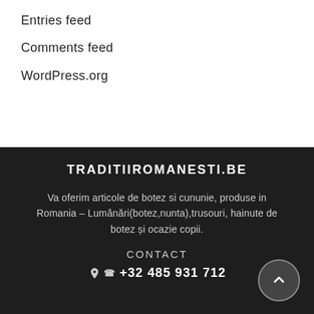Entries feed
Comments feed
WordPress.org
TRADITIIROMANESTI.BE
Va oferim articole de botez si cununie, produse in Romania – Lumânări(botez,nunta),trusouri, hainute de botez și ocazie copii.
CONTACT
+32 485 931 712